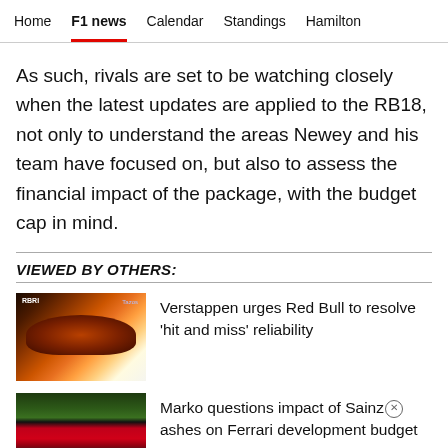Home  F1 news  Calendar  Standings  Hamilton
As such, rivals are set to be watching closely when the latest updates are applied to the RB18, not only to understand the areas Newey and his team have focused on, but also to assess the financial impact of the package, with the budget cap in mind.
VIEWED BY OTHERS:
[Figure (photo): Thumbnail photo of Verstappen in Red Bull helmet, close-up view inside cockpit with Red Bull/Tezos branding visible]
Verstappen urges Red Bull to resolve 'hit and miss' reliability
[Figure (photo): Thumbnail photo of Ferrari car on track with colorful surroundings, overhead/side view]
Marko questions impact of Sainz crashes on Ferrari development budget